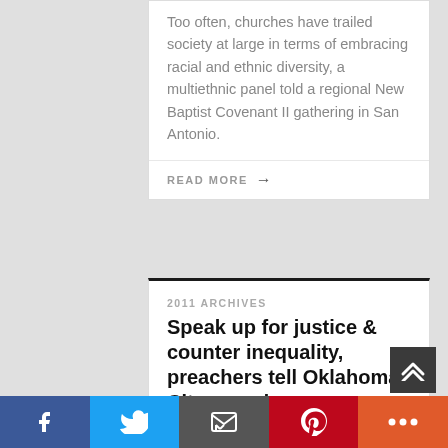Too often, churches have trailed society at large in terms of embracing racial and ethnic diversity, a multiethnic panel told a regional New Baptist Covenant II gathering in San Antonio.
READ MORE →
2011 ARCHIVES
Speak up for justice & counter inequality, preachers tell Oklahoma City crowd
NOVEMBER 19, 2011 / AUTHOR: MARV KNOX, BAPTIST STANDARD
The world's brokenness calls out for Christians who will speak courageously on behalf of justice and fairness, a trio of pastors told participants at the New Baptist